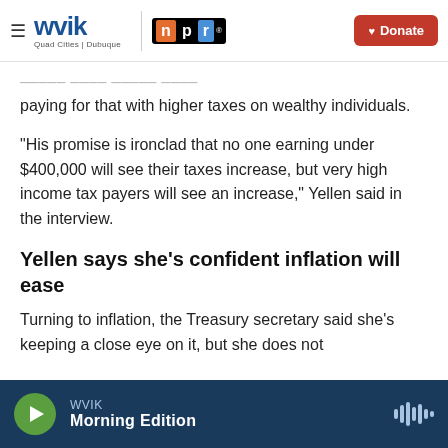WVIK | Quad Cities | Dubuque — npr — Donate
paying for that with higher taxes on wealthy individuals.
"His promise is ironclad that no one earning under $400,000 will see their taxes increase, but very high income tax payers will see an increase," Yellen said in the interview.
Yellen says she's confident inflation will ease
Turning to inflation, the Treasury secretary said she's keeping a close eye on it, but she does not
WVIK — Morning Edition